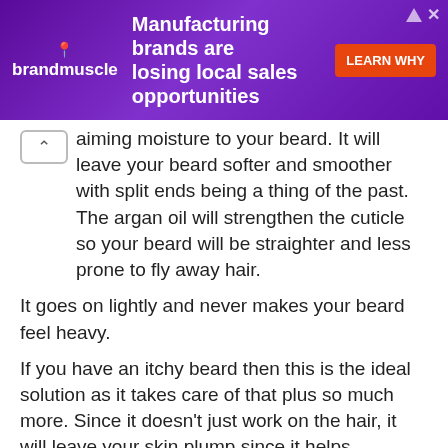[Figure (screenshot): brandmuscle advertisement banner with purple gradient background. Text reads 'Manufacturing brands are losing local sales opportunities' with an orange 'LEARN WHY' button. brandmuscle logo on the left with a location pin icon.]
aiming moisture to your beard. It will leave your beard softer and smoother with split ends being a thing of the past. The argan oil will strengthen the cuticle so your beard will be straighter and less prone to fly away hair.
It goes on lightly and never makes your beard feel heavy.
If you have an itchy beard then this is the ideal solution as it takes care of that plus so much more. Since it doesn't just work on the hair, it will leave your skin plump since it helps encourage the production of collagen.
The scent is very light and fresh. It does not overpower and won't conflict with any beard oil fragrance that you might use in addition.